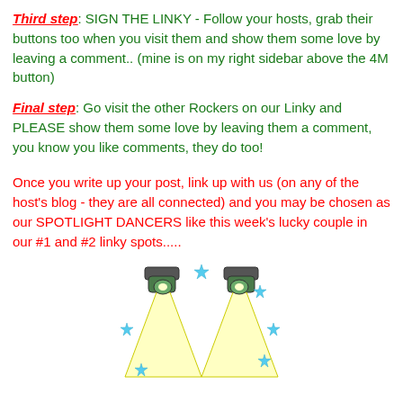Third step: SIGN THE LINKY - Follow your hosts, grab their buttons too when you visit them and show them some love by leaving a comment.. (mine is on my right sidebar above the 4M button)
Final step: Go visit the other Rockers on our Linky and PLEASE show them some love by leaving them a comment, you know you like comments, they do too!
Once you write up your post, link up with us (on any of the host's blog - they are all connected) and you may be chosen as our SPOTLIGHT DANCERS like this week's lucky couple in our #1 and #2 linky spots.....
[Figure (illustration): Two crossed stage spotlights with blue stars scattered around them on a white background]